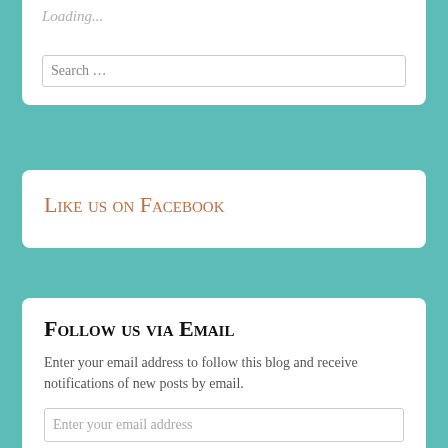Loading...
Search …
Like us on Facebook
Follow us via Email
Enter your email address to follow this blog and receive notifications of new posts by email.
Enter your email address
Follow